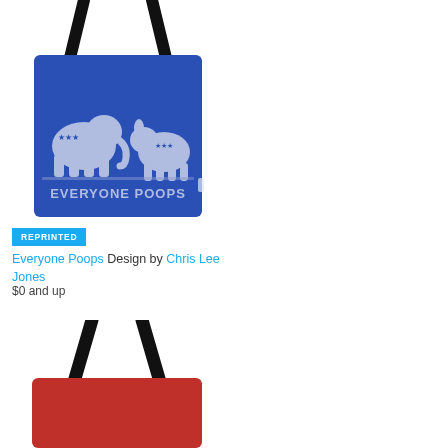[Figure (photo): Blue tote bag with Republican elephant and Democratic donkey symbols and text 'EVERYONE POOPS']
REPRINTED
Everyone Poops Design by Chris Lee Jones
$0 and up
[Figure (photo): Red tote bag with black handles, partially visible at bottom of page]